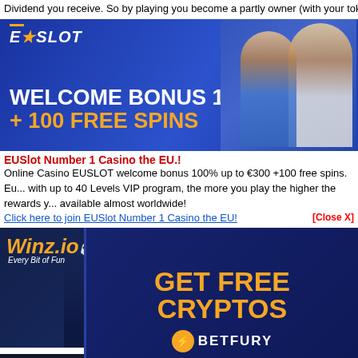Dividend you receive. So by playing you become a partly owner (with your tok... wait Play Today get Tokens and Get Daily Dividend Click here to join Betfury a...
[Figure (screenshot): EUSlot casino banner: blue background with EU SLOT logo, 'WELCOME BONUS 100% + 100 FREE SPINS' text, gold coin, two excited people on right side]
EUSlot Number 1 Casino the EU.!
Online Casino EUSLOT welcome bonus 100% up to €300 +100 free spins. Eu... with up to 40 Levels VIP program, the more you play the higher the rewards y... available almost worldwide!
Click here to join EUSlot Number 1 Casino the EU!
[Figure (screenshot): Betfury overlay popup over Winz.io casino ad. Winz.io panel shows raccoon mascot with casino chips, 'GET FREE CRYPTOS' in orange, Betfury logo and CLAIM NOW yellow button at bottom. Left side shows Winz.io brand and StormGain logo.]